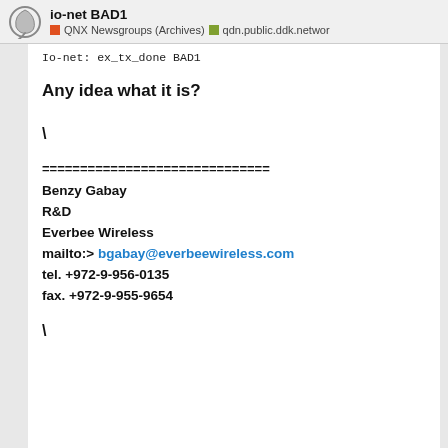io-net BAD1 | QNX Newsgroups (Archives) | qdn.public.ddk.networ
Io-net: ex_tx_done BAD1
Any idea what it is?
\
==============================
Benzy Gabay
R&D
Everbee Wireless
mailto:> bgabay@everbeewireless.com
tel. +972-9-956-0135
fax. +972-9-955-9654
\